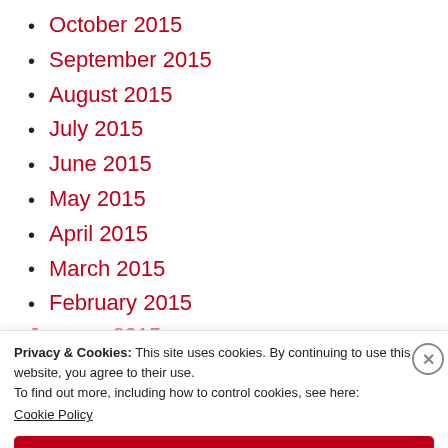October 2015
September 2015
August 2015
July 2015
June 2015
May 2015
April 2015
March 2015
February 2015
January 2015
Privacy & Cookies: This site uses cookies. By continuing to use this website, you agree to their use.
To find out more, including how to control cookies, see here:
Cookie Policy
Close and accept